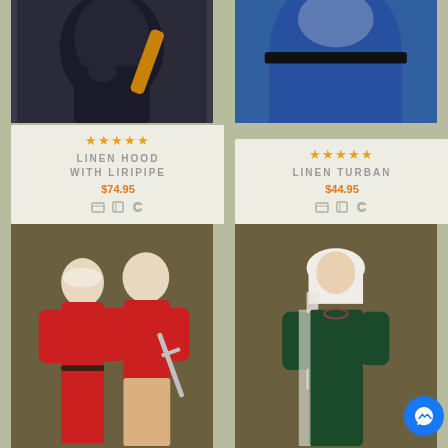[Figure (photo): Product photo of a black linen hood with liripipe costume]
★★★★★
LINEN HOOD WITH LIRIPIPE
$74.95
[Figure (photo): Product photo of a blue linen turban medieval costume]
★★★★★
LINEN TURBAN
$44.95
[Figure (photo): Two people wearing red medieval tunics, one holding a sword]
[Figure (photo): Woman in green medieval dress with white linen headscarf]